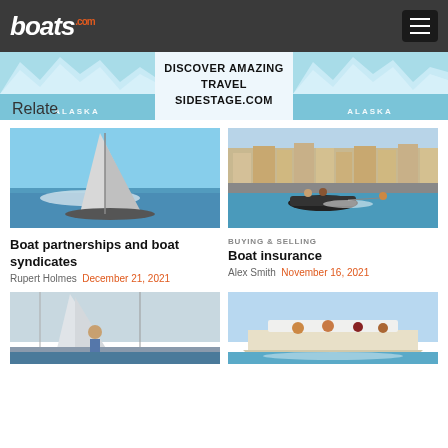boats.com
[Figure (photo): Advertisement banner: DISCOVER AMAZING TRAVEL SIDESTAGE.COM with Alaska glacier imagery on left and right]
Related
[Figure (photo): Sailing yacht heeling in open water with white sails]
Boat partnerships and boat syndicates
Rupert Holmes  December 21, 2021
BUYING & SELLING
[Figure (photo): RIB speedboat with person waterskiing in front of coastal town]
Boat insurance
Alex Smith  November 16, 2021
[Figure (photo): Person on sailboat at marina]
[Figure (photo): Group on motorboat on sunny day]